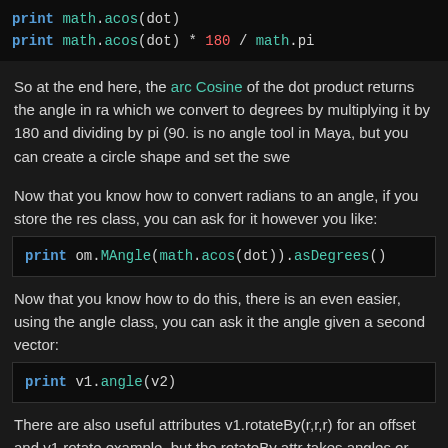[Figure (screenshot): Code block showing: print math.acos(dot) and print math.acos(dot) * 180 / math.pi]
So at the end here, the arc Cosine of the dot product returns the angle in radians, which we convert to degrees by multiplying it by 180 and dividing by pi (90. is no angle tool in Maya, but you can create a circle shape and set the swe
Now that you know how to convert radians to an angle, if you store the res class, you can ask for it however you like:
[Figure (screenshot): Code block showing: print om.MAngle(math.acos(dot)).asDegrees()]
Now that you know how to do this, there is an even easier, using the angle class, you can ask it the angle given a second vector:
[Figure (screenshot): Code block showing: print v1.angle(v2)]
There are also useful attributes v1.rotateBy(r,r,r) for an offset and v1.rotate example, but the rotateBy attr takes angles or radians.
CHALLENGE: Can you write your own rad_to_deg and deg_to_rad utility
USE CASE: ORIENT-DRIVER
[Figure (screenshot): Gray bar at bottom of page]